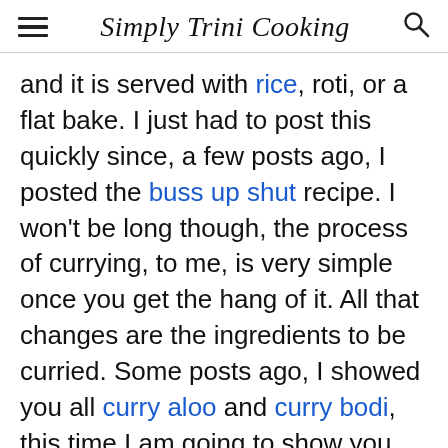Simply Trini Cooking
and it is served with rice, roti, or a flat bake. I just had to post this quickly since, a few posts ago, I posted the buss up shut recipe. I won't be long though, the process of currying, to me, is very simple once you get the hang of it. All that changes are the ingredients to be curried. Some posts ago, I showed you all curry aloo and curry bodi, this time I am going to show you curry